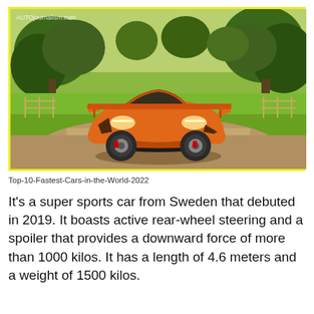[Figure (photo): Orange Koenigsegg supercar parked on a gravel path surrounded by lush green trees and grass. Watermark 'AUTOjournalism.com' visible in top-left corner.]
Top-10-Fastest-Cars-in-the-World-2022
It's a super sports car from Sweden that debuted in 2019. It boasts active rear-wheel steering and a spoiler that provides a downward force of more than 1000 kilos. It has a length of 4.6 meters and a weight of 1500 kilos.